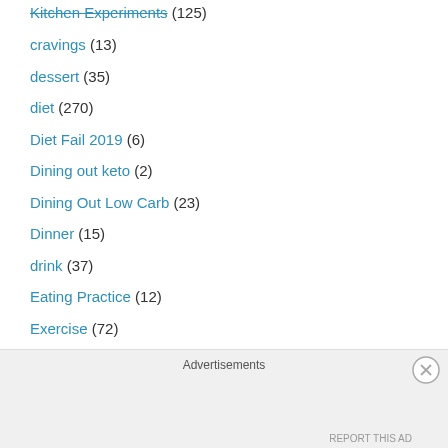Kitchen Experiments (125)
cravings (13)
dessert (35)
diet (270)
Diet Fail 2019 (6)
Dining out keto (2)
Dining Out Low Carb (23)
Dinner (15)
drink (37)
Eating Practice (12)
Exercise (72)
External Links (74)
Advertisements